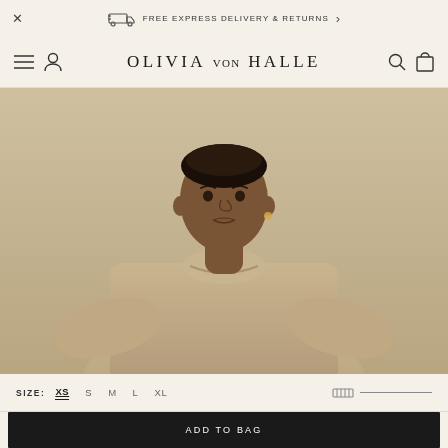FREE EXPRESS DELIVERY & RETURNS
OLIVIA VON HALLE
[Figure (photo): A woman with close-cropped hair wearing a beige/sand colored oversized crewneck sweatshirt, photographed against a matching neutral beige background. The photo is cropped from the waist up.]
SIZE: XS  S  M  L  XL
ADD TO BAG